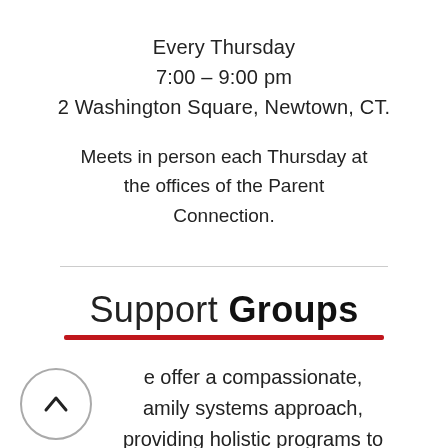Every Thursday
7:00 - 9:00 pm
2 Washington Square, Newtown, CT.
Meets in person each Thursday at the offices of the Parent Connection.
Support Groups
We offer a compassionate, family systems approach, providing holistic programs to educate, empower, and rehabilitate families. Our